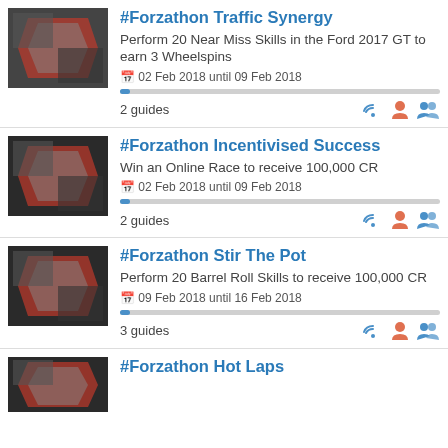#Forzathon Traffic Synergy – Perform 20 Near Miss Skills in the Ford 2017 GT to earn 3 Wheelspins. 02 Feb 2018 until 09 Feb 2018. 2 guides.
#Forzathon Incentivised Success – Win an Online Race to receive 100,000 CR. 02 Feb 2018 until 09 Feb 2018. 2 guides.
#Forzathon Stir The Pot – Perform 20 Barrel Roll Skills to receive 100,000 CR. 09 Feb 2018 until 16 Feb 2018. 3 guides.
#Forzathon Hot Laps